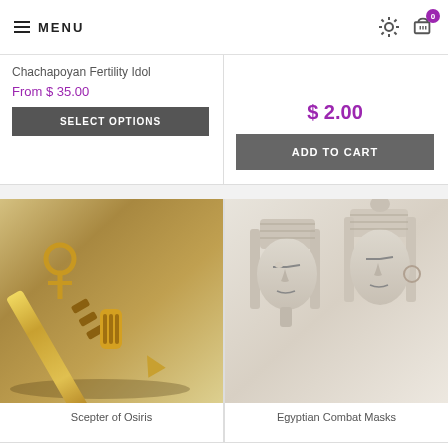MENU
Chachapoyan Fertility Idol
From $ 35.00
SELECT OPTIONS
$ 2.00
ADD TO CART
[Figure (photo): Gold scepter or wand (Scepter of Osiris) on sandy surface]
Scepter of Osiris
[Figure (photo): Two Egyptian pharaoh combat masks/helmets, off-white/ivory color]
Egyptian Combat Masks